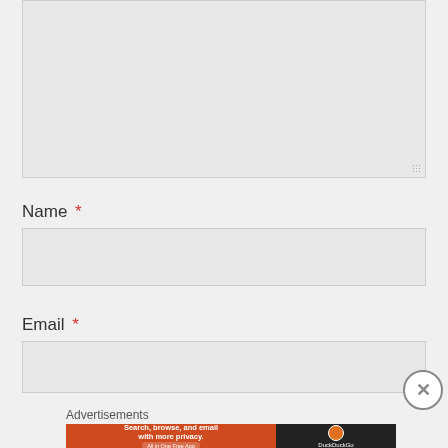[Figure (screenshot): Empty textarea form field with light gray background and resize handle at bottom right]
Name *
[Figure (screenshot): Empty text input field for Name with light gray background]
Email *
[Figure (screenshot): Empty text input field for Email with light gray background]
[Figure (screenshot): Close/dismiss button (X in circle) on right side]
Advertisements
[Figure (screenshot): DuckDuckGo advertisement banner: 'Search, browse, and email with more privacy. All in One Free App' with orange left panel and dark right panel showing DuckDuckGo logo]